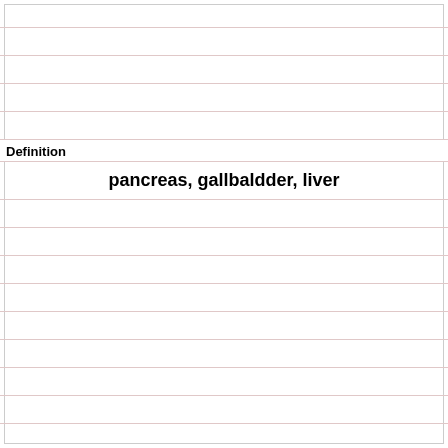Definition
pancreas, gallbaldder, liver
Term
what organ secretes glucagon into the blood